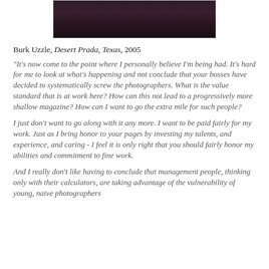[Figure (photo): Dark reddish-brown wooden surface photograph, wide horizontal format]
Burk Uzzle, Desert Prada, Texas, 2005
"It's now come to the point where I personally believe I'm being had. It's hard for me to look at what's happening and not conclude that your bosses have decided to systematically screw the photographers. What is the value standard that is at work here? How can this not lead to a progressively more shallow magazine? How can I want to go the extra mile for such people?
I just don't want to go along with it any more. I want to be paid fairly for my work. Just as I bring honor to your pages by investing my talents, and experience, and caring - I feel it is only right that you should fairly honor my abilities and commitment to fine work.
And I really don't like having to conclude that management people, thinking only with their calculators, are taking advantage of the vulnerability of young, naive photographers